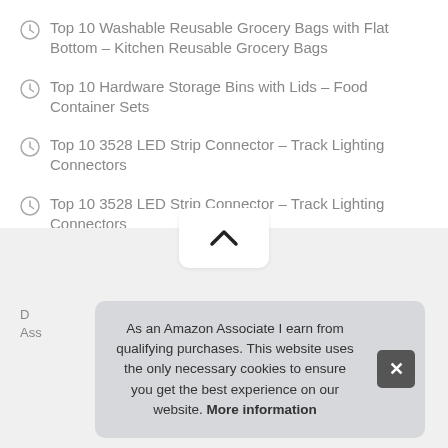Top 10 Washable Reusable Grocery Bags with Flat Bottom – Kitchen Reusable Grocery Bags
Top 10 Hardware Storage Bins with Lids – Food Container Sets
Top 10 3528 LED Strip Connector – Track Lighting Connectors
Top 10 3528 LED Strip Connector – Track Lighting Connectors
Top 10 Microfiber Bath Towel for Body – Bath Towels
As an Amazon Associate I earn from qualifying purchases. This website uses the only necessary cookies to ensure you get the best experience on our website. More information